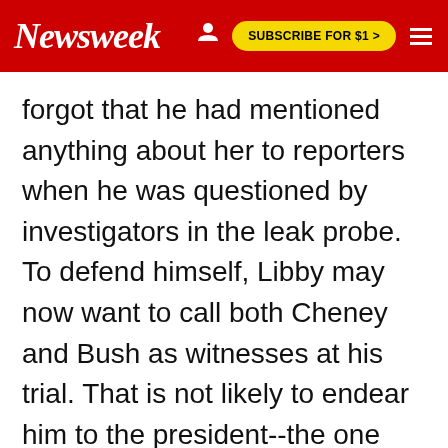Newsweek | SUBSCRIBE FOR $1 >
forgot that he had mentioned anything about her to reporters when he was questioned by investigators in the leak probe. To defend himself, Libby may now want to call both Cheney and Bush as witnesses at his trial. That is not likely to endear him to the president--the one man who has the power not only to declassify secrets but also to pardon convicted felons.